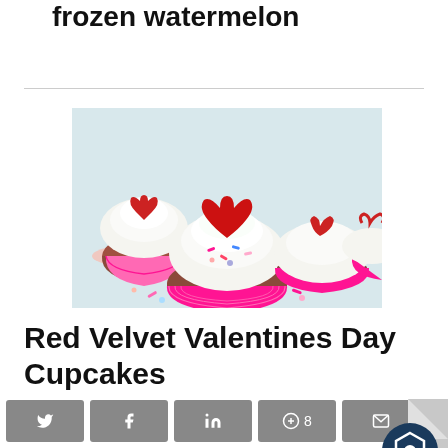frozen watermelon
[Figure (photo): Chocolate cupcakes with white frosting in pink metallic cupcake liners, topped with red heart candy decorations and colorful sprinkles, on a light background]
Red Velvet Valentines Day Cupcakes
[Figure (other): Social sharing buttons: Twitter, Facebook, LinkedIn, Pinterest (8), Email, and a Manage badge in bottom right corner]